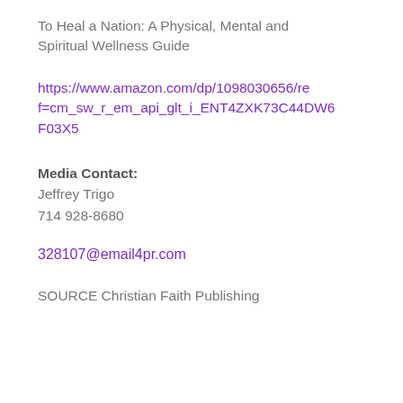To Heal a Nation: A Physical, Mental and Spiritual Wellness Guide
https://www.amazon.com/dp/1098030656/ref=cm_sw_r_em_api_glt_i_ENT4ZXK73C44DW6F03X5
Media Contact:
Jeffrey Trigo
714 928-8680
328107@email4pr.com
SOURCE Christian Faith Publishing